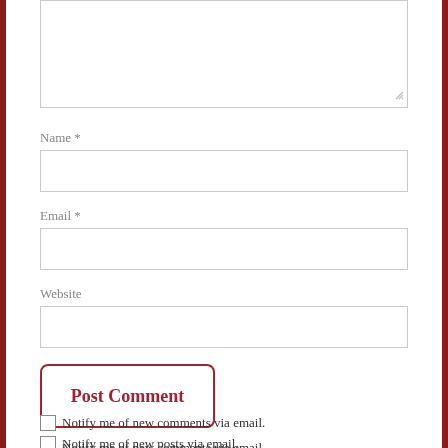[Figure (screenshot): A comment form partial showing a textarea (partially visible at top), Name field with asterisk, Email field with asterisk, Website field, Post Comment button with red border, and two checkbox options for email notifications.]
Name *
Email *
Website
Post Comment
Notify me of new comments via email.
Notify me of new posts via email.